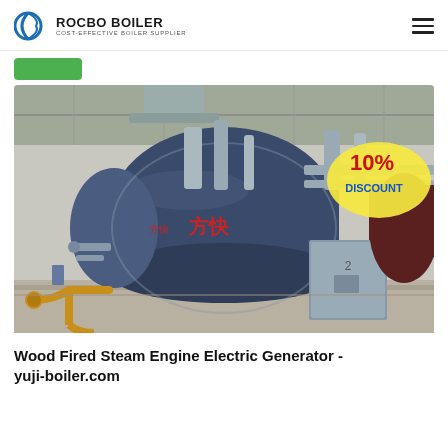ROCBO BOILER - COST-EFFECTIVE BOILER SUPPLIER
[Figure (photo): Industrial wood-fired steam boiler in a factory setting. Large dark blue cylindrical boiler with Chinese characters, pipes, a gray control cabinet, and a '10% DISCOUNT' badge in the upper right corner.]
Wood Fired Steam Engine Electric Generator - yuji-boiler.com